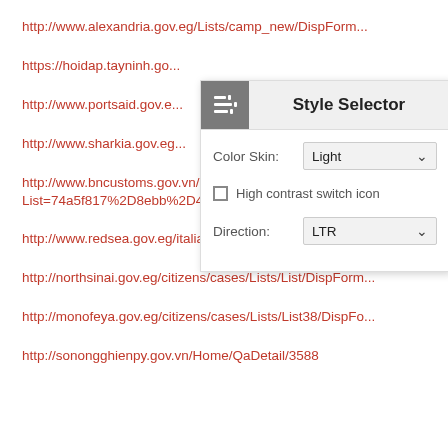http://www.alexandria.gov.eg/Lists/camp_new/DispForm...
https://hoidap.tayninh.go...
http://www.portsaid.gov.e...
http://www.sharkia.gov.eg...
http://www.bncustoms.gov.vn/Lists/HoTroTrucTuyen/Tho... List=74a5f817%2D8ebb%2D4cd0%2Daa5a%2Dcfd8c02a...
http://www.redsea.gov.eg/italiano/Lists/Lista%20dei%20re...
http://northsinai.gov.eg/citizens/cases/Lists/List/DispForm...
http://monofeya.gov.eg/citizens/cases/Lists/List38/DispFo...
http://sonongghienpy.gov.vn/Home/QaDetail/3588
[Figure (screenshot): Style Selector UI overlay with Color Skin dropdown set to Light, High contrast switch icon checkbox unchecked, and Direction dropdown set to LTR]